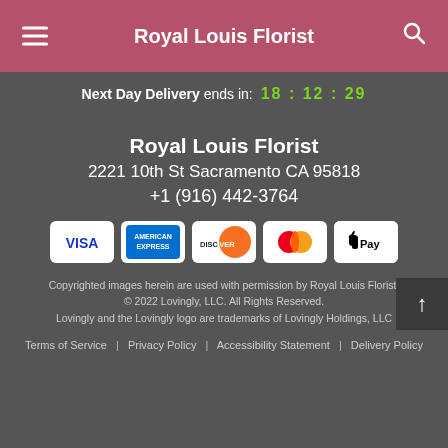Royal Louis Florist
Next Day Delivery ends in: 18 : 12 : 29
Royal Louis Florist
2221 10th St Sacramento CA 95818
+1 (916) 442-3764
[Figure (logo): Payment method icons: VISA, American Express, Discover, Mastercard, Apple Pay]
Copyrighted images herein are used with permission by Royal Louis Florist.
© 2022 Lovingly, LLC. All Rights Reserved.
Lovingly and the Lovingly logo are trademarks of Lovingly Holdings, LLC
Terms of Service | Privacy Policy | Accessibility Statement | Delivery Policy